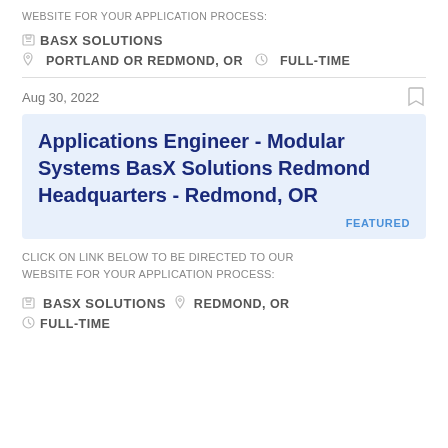WEBSITE FOR YOUR APPLICATION PROCESS:
BASX SOLUTIONS   PORTLAND OR REDMOND, OR   FULL-TIME
Aug 30, 2022
Applications Engineer - Modular Systems BasX Solutions Redmond Headquarters - Redmond, OR
FEATURED
CLICK ON LINK BELOW TO BE DIRECTED TO OUR WEBSITE FOR YOUR APPLICATION PROCESS:
BASX SOLUTIONS   REDMOND, OR   FULL-TIME